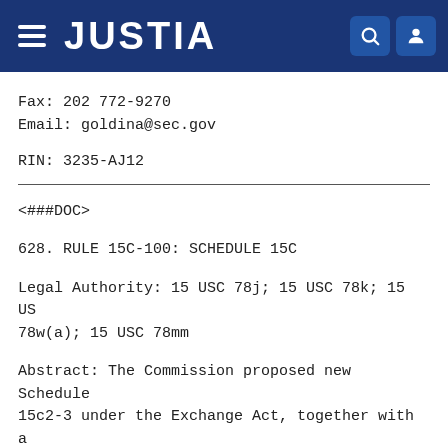JUSTIA
Fax: 202 772-9270
Email: goldina@sec.gov
RIN: 3235-AJ12
<###DOC>
628. RULE 15C-100: SCHEDULE 15C
Legal Authority: 15 USC 78j; 15 USC 78k; 15 USC 78w(a); 15 USC 78mm
Abstract: The Commission proposed new Schedule 15c2-3 under the Exchange Act, together with a The Commission also proposed related amendment